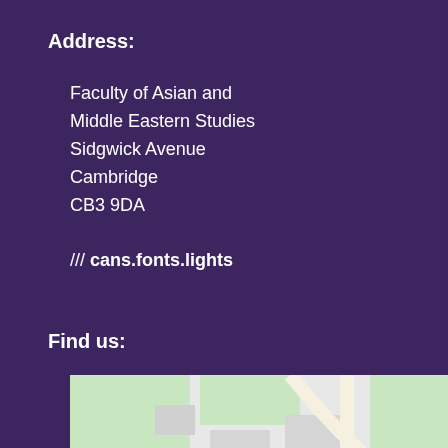Address:
Faculty of Asian and
Middle Eastern Studies
Sidgwick Avenue
Cambridge
CB3 9DA
/// cans.fonts.lights
Find us:
[Figure (map): Map showing location near King's College Chapel and the Fitzwilliam Museum in Cambridge, with road A603 visible]